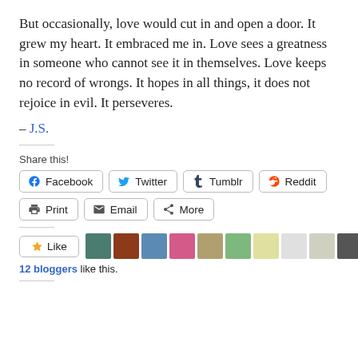But occasionally, love would cut in and open a door. It grew my heart. It embraced me in. Love sees a greatness in someone who cannot see it in themselves. Love keeps no record of wrongs. It hopes in all things, it does not rejoice in evil. It perseveres.
— J.S.
Share this!
[Figure (screenshot): Social share buttons: Facebook, Twitter, Tumblr, Reddit, Print, Email, More]
[Figure (screenshot): Like button and 11 blogger avatar thumbnails]
12 bloggers like this.